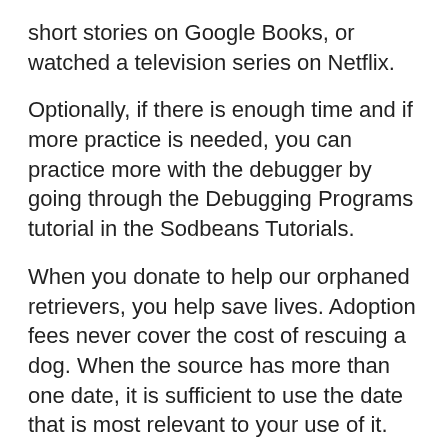short stories on Google Books, or watched a television series on Netflix.
Optionally, if there is enough time and if more practice is needed, you can practice more with the debugger by going through the Debugging Programs tutorial in the Sodbeans Tutorials.
When you donate to help our orphaned retrievers, you help save lives. Adoption fees never cover the cost of rescuing a dog. When the source has more than one date, it is sufficient to use the date that is most relevant to your use of it.
Yes, we will consider scripts based on prior works, as long as you have secured the underlying rights to the material. All Lab notifications will be made via email. Creating in-text citations using the eighth edition The in-text citation is a brief reference within your text that indicates the source you consulted.